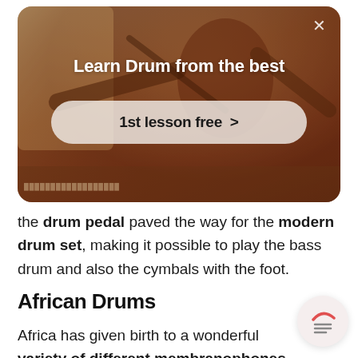[Figure (photo): Advertisement card with a photo of a person playing drums in warm lighting. Shows 'Learn Drum from the best' heading and a '1st lesson free >' call-to-action button. Has a close (X) button in top right corner.]
the drum pedal paved the way for the modern drum set, making it possible to play the bass drum and also the cymbals with the foot.
African Drums
Africa has given birth to a wonderful variety of different membranophones, from kettle drums to